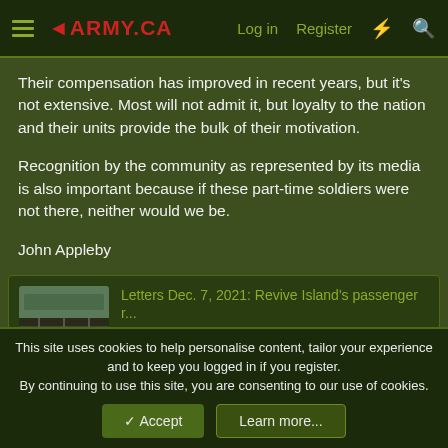◄ARMY.CA   Log in   Register
Their compensation has improved in recent years, but it's not extensive. Most will not admit it, but loyalty to the nation and their units provide the bulk of their motivation.
Recognition by the community as represented by its media is also important because if these part-time soldiers were not there, neither would we be.
John Appleby
[Figure (screenshot): Thumbnail image of railway tracks for related article]
Letters Dec. 7, 2021: Revive Island's passenger r...
Island rail corridor a permanent solution The recent closure of a section of the Malahat highway underscores the need for more effective transportation planning.
This site uses cookies to help personalise content, tailor your experience and to keep you logged in if you register.
By continuing to use this site, you are consenting to our use of cookies.